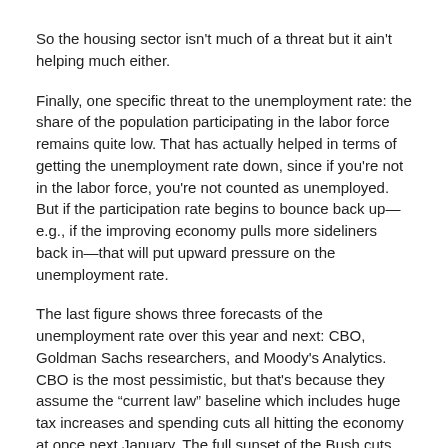So the housing sector isn't much of a threat but it ain't helping much either.
Finally, one specific threat to the unemployment rate: the share of the population participating in the labor force remains quite low.  That has actually helped in terms of getting the unemployment rate down, since if you're not in the labor force, you're not counted as unemployed.  But if the participation rate begins to bounce back up—e.g., if the improving economy pulls more sideliners back in—that will put upward pressure on the unemployment rate.
The last figure shows three forecasts of the unemployment rate over this year and next: CBO, Goldman Sachs researchers, and Moody's Analytics.  CBO is the most pessimistic, but that's because they assume the “current law” baseline which includes huge tax increases and spending cuts all hitting the economy at once next January.  The full sunset of the Bush cuts along with sequestration (automatic budget cuts) leads to a decline in the 2013 budget deficit of about $500 billion.  Only the most bloodletting austericons could stomach a fiscal contraction of that magnitude at that point in the cycle.